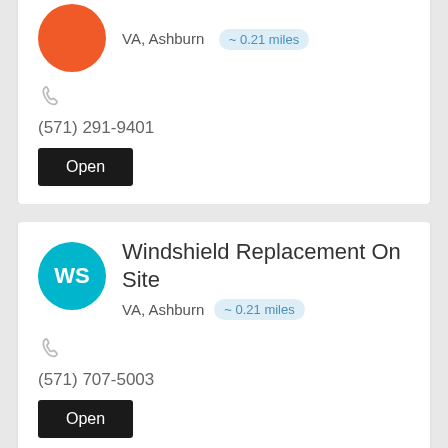[Figure (other): Orange circular avatar with location VA, Ashburn and ~ 0.21 miles badge (top card, cropped)]
[Figure (other): Phone icon (receiver symbol)]
(571) 291-9401
Open
Windshield Replacement On Site
VA, Ashburn  ~ 0.21 miles
[Figure (other): Phone icon (receiver symbol)]
(571) 707-5003
Open